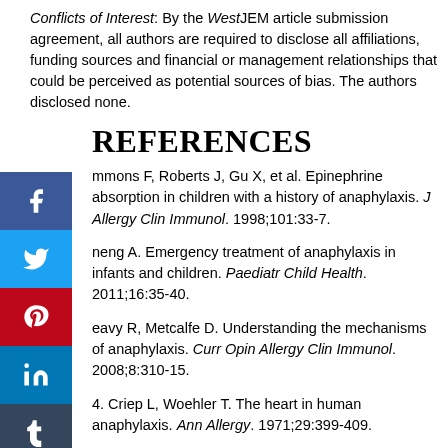Conflicts of Interest: By the WestJEM article submission agreement, all authors are required to disclose all affiliations, funding sources and financial or management relationships that could be perceived as potential sources of bias. The authors disclosed none.
REFERENCES
mmons F, Roberts J, Gu X, et al. Epinephrine absorption in children with a history of anaphylaxis. J Allergy Clin Immunol. 1998;101:33-7.
neng A. Emergency treatment of anaphylaxis in infants and children. Paediatr Child Health. 2011;16:35-40.
eavy R, Metcalfe D. Understanding the mechanisms of anaphylaxis. Curr Opin Allergy Clin Immunol. 2008;8:310-15.
4. Criep L, Woehler T. The heart in human anaphylaxis. Ann Allergy. 1971;29:399-409.
5. Smith P, Kagey-Sobotka A, Bleecker E, et al. Physiologic manifestations of human anaphylaxis. J Clin Invest. 1980;66:1072-80.